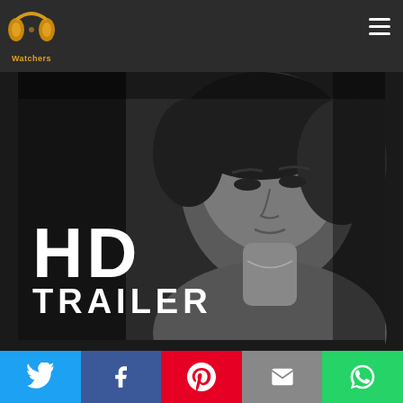[Figure (logo): PP Watchers logo — stylized golden headphones/bow-tie icon with text 'Watchers' below]
[Figure (screenshot): Website screenshot of a video thumbnail player showing a black-and-white close-up of a woman's face with 'HD TRAILER' text overlay in white bold font on dark background]
[Figure (infographic): Social sharing bar at the bottom with five buttons: Twitter (blue), Facebook (dark blue), Pinterest (red), Email (grey), WhatsApp (green)]